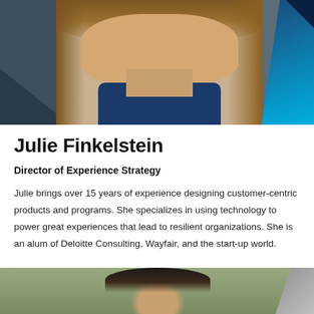[Figure (photo): Headshot photo of Julie Finkelstein, a woman with long blonde-brown hair wearing a dark navy top, against a gray/dark background with blue accent on right side.]
Julie Finkelstein
Director of Experience Strategy
Julie brings over 15 years of experience designing customer-centric products and programs. She specializes in using technology to power great experiences that lead to resilient organizations. She is an alum of Deloitte Consulting, Wayfair, and the start-up world.
[Figure (photo): Partial headshot of another person, cropped at bottom of page, outdoors with green background.]